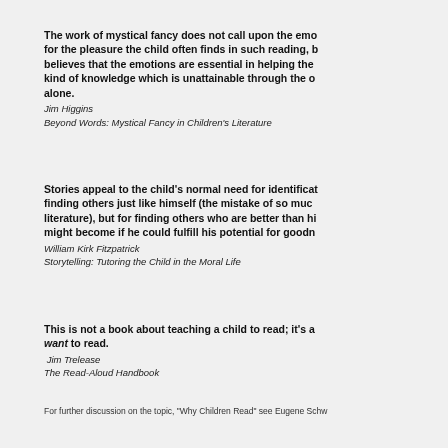The work of mystical fancy does not call upon the emotions for the pleasure the child often finds in such reading, but believes that the emotions are essential in helping the kind of knowledge which is unattainable through the o alone.
Jim Higgins
Beyond Words: Mystical Fancy in Children's Literature
Stories appeal to the child's normal need for identification, finding others just like himself (the mistake of so much literature), but for finding others who are better than hi might become if he could fulfill his potential for goodn
William Kirk Fitzpatrick
Storytelling: Tutoring the Child in the Moral Life
This is not a book about teaching a child to read; it's a want to read.
Jim Trelease
The Read-Aloud Handbook
For further discussion on the topic, "Why Children Read" see Eugene Schw